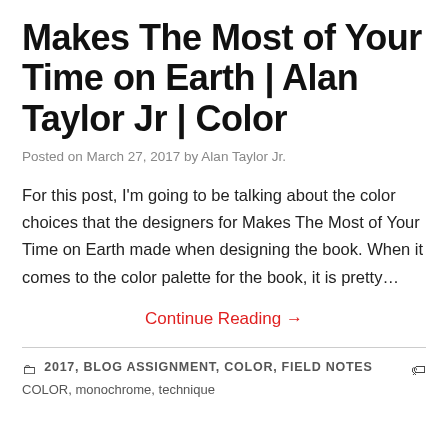Makes The Most of Your Time on Earth | Alan Taylor Jr | Color
Posted on March 27, 2017 by Alan Taylor Jr.
For this post, I'm going to be talking about the color choices that the designers for Makes The Most of Your Time on Earth made when designing the book. When it comes to the color palette for the book, it is pretty…
Continue Reading →
2017, BLOG ASSIGNMENT, COLOR, FIELD NOTES COLOR, monochrome, technique